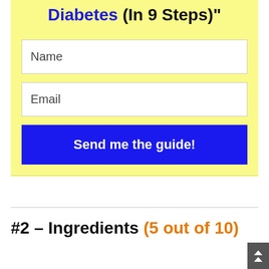Diabetes (In 9 Steps)"
[Figure (screenshot): Web form with Name field, Email field, and a blue 'Send me the guide!' button on a yellow background]
#2 – Ingredients (5 out of 10)